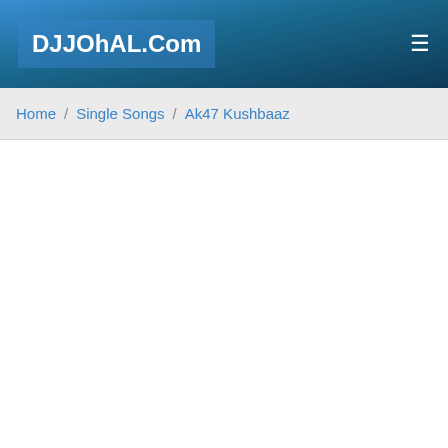DJJOhAL.Com
Home / Single Songs / Ak47 Kushbaaz